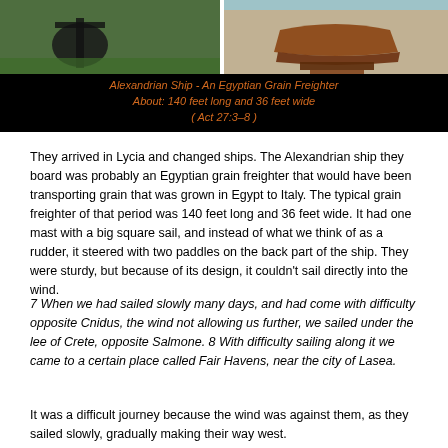[Figure (photo): Two photos side by side: left shows a dark anchor/ship artifact on grass, right shows a wooden model of an ancient grain freighter on a display stand. Below the photos is a black caption bar with orange italic text.]
Alexandrian Ship - An Egyptian Grain Freighter
About: 140 feet long and 36 feet wide
( Act 27:3–8 )
They arrived in Lycia and changed ships. The Alexandrian ship they board was probably an Egyptian grain freighter that would have been transporting grain that was grown in Egypt to Italy. The typical grain freighter of that period was 140 feet long and 36 feet wide. It had one mast with a big square sail, and instead of what we think of as a rudder, it steered with two paddles on the back part of the ship. They were sturdy, but because of its design, it couldn't sail directly into the wind.
7 When we had sailed slowly many days, and had come with difficulty opposite Cnidus, the wind not allowing us further, we sailed under the lee of Crete, opposite Salmone. 8 With difficulty sailing along it we came to a certain place called Fair Havens, near the city of Lasea.
It was a difficult journey because the wind was against them, as they sailed slowly, gradually making their way west.